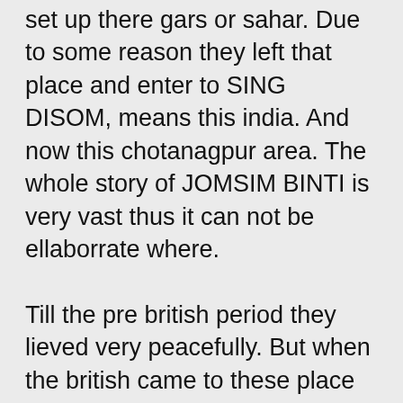set up there gars or sahar. Due to some reason they left that place and enter to SING DISOM, means this india. And now this chotanagpur area. The whole story of JOMSIM BINTI is very vast thus it can not be ellaborrate where. Till the pre british period they lieved very peacefully. But when the british came to these place santhal people came in danger. Again through missioneries they started to convert sari or sarna(santhal people) to cgristanity by teaching them some a-b-c-d and devide our faith and dignity. Which is very painful to me.